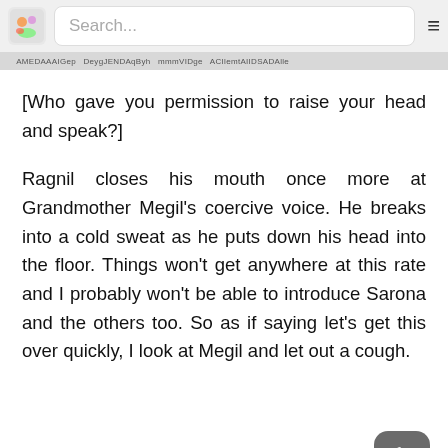Search...
[Who gave you permission to raise your head and speak?]
Ragnil closes his mouth once more at Grandmother Megil's coercive voice. He breaks into a cold sweat as he puts down his head into the floor. Things won't get anywhere at this rate and I probably won't be able to introduce Sarona and the others too. So as if saying let's get this over quickly, I look at Megil and let out a cough.
[It's been a long time huh, Wazu]